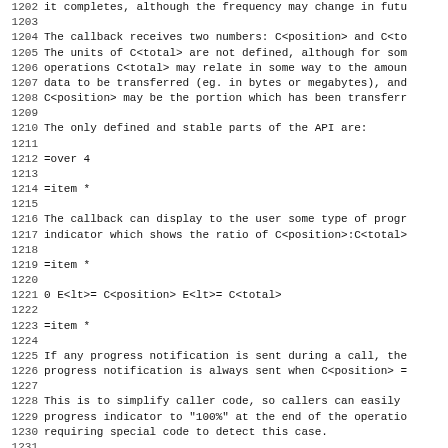1202 it completes, although the frequency may change in futu
1203
1204 The callback receives two numbers: C<position> and C<to
1205 The units of C<total> are not defined, although for som
1206 operations C<total> may relate in some way to the amoun
1207 data to be transferred (eg. in bytes or megabytes), and
1208 C<position> may be the portion which has been transferr
1209
1210 The only defined and stable parts of the API are:
1211
1212 =over 4
1213
1214 =item *
1215
1216 The callback can display to the user some type of progr
1217 indicator which shows the ratio of C<position>:C<total>
1218
1219 =item *
1220
1221 0 E<lt>= C<position> E<lt>= C<total>
1222
1223 =item *
1224
1225 If any progress notification is sent during a call, the
1226 progress notification is always sent when C<position> =
1227
1228 This is to simplify caller code, so callers can easily
1229 progress indicator to "100%" at the end of the operatio
1230 requiring special code to detect this case.
1231
1232 =back
1233
1234 The callback also receives the procedure number and ser